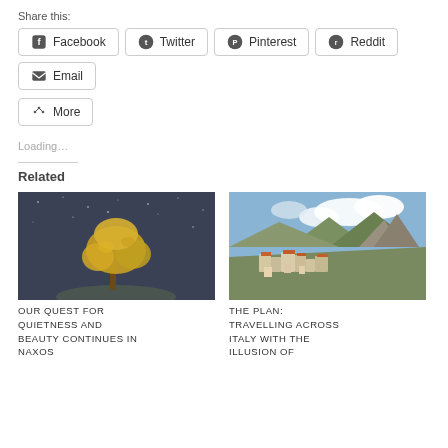Share this:
Facebook
Twitter
Pinterest
Reddit
Email
More
Loading…
Related
[Figure (photo): A yellow tree against a dark starry night sky]
OUR QUEST FOR QUIETNESS AND BEAUTY CONTINUES IN NAXOS
[Figure (photo): An Italian hilltop village with mountains and clouds in the background]
THE PLAN: TRAVELLING ACROSS ITALY WITH THE ILLUSION OF